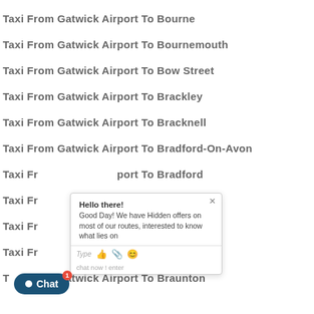Taxi From Gatwick Airport To Bourne
Taxi From Gatwick Airport To Bournemouth
Taxi From Gatwick Airport To Bow Street
Taxi From Gatwick Airport To Brackley
Taxi From Gatwick Airport To Bracknell
Taxi From Gatwick Airport To Bradford-On-Avon
Taxi From Gatwick Airport To Bradford
Taxi From Gatwick Airport To Braintree
Taxi From Gatwick Airport To Brampton
Taxi From Gatwick Airport To Brandon
Taxi From Gatwick Airport To Braunton